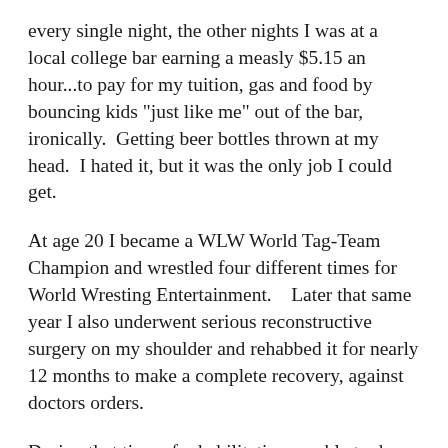every single night, the other nights I was at a local college bar earning a measly $5.15 an hour...to pay for my tuition, gas and food by bouncing kids "just like me" out of the bar, ironically.  Getting beer bottles thrown at my head.  I hated it, but it was the only job I could get.
At age 20 I became a WLW World Tag-Team Champion and wrestled four different times for World Wresting Entertainment.    Later that same year I also underwent serious reconstructive surgery on my shoulder and rehabbed it for nearly 12 months to make a complete recovery, against doctors orders.
During that time of rehabilitating, unable to do anything very physical, and in addition to my already packed college course schedule I started studying on the side.  Those studies were for my first personal training certification, which I passed at age 21, officially